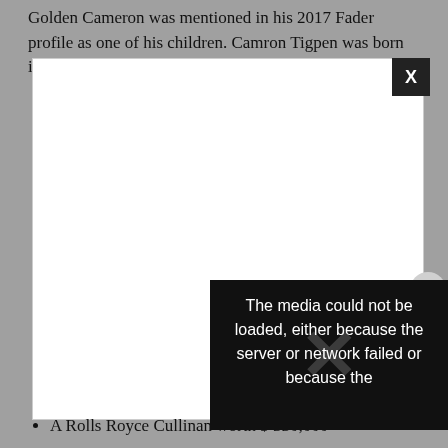Golden Cameron was mentioned in his 2017 Fader profile as one of his children. Camron Tigpen was born in July 2016, weeks after Caydon, as the son of
[Figure (other): White media player box with a black close button (X) in the top-right corner, and an error overlay in the lower right showing 'The media could not be loaded, either because the server or network failed or because the' with an X watermark, plus a circular close button on the right side.]
A Rolls Royce Cullinan worth $ 330,000